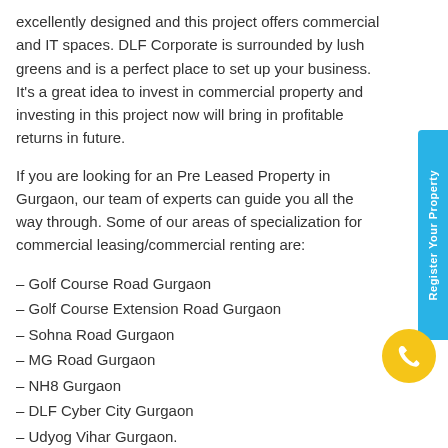excellently designed and this project offers commercial and IT spaces. DLF Corporate is surrounded by lush greens and is a perfect place to set up your business. It's a great idea to invest in commercial property and investing in this project now will bring in profitable returns in future.
If you are looking for an Pre Leased Property in Gurgaon, our team of experts can guide you all the way through. Some of our areas of specialization for commercial leasing/commercial renting are:
– Golf Course Road Gurgaon
– Golf Course Extension Road Gurgaon
– Sohna Road Gurgaon
– MG Road Gurgaon
– NH8 Gurgaon
– DLF Cyber City Gurgaon
– Udyog Vihar Gurgaon.
DLF Corporate Park, a commercial building on the main MG Road, near the Delhi-Gurgaon border, has good metro connectivity via Guru Dronacharya Metro Station, within a distance of 0.3 km. There are 5-star hotels as well as hospitals and malls within a 2 km radius and good connectivity by road